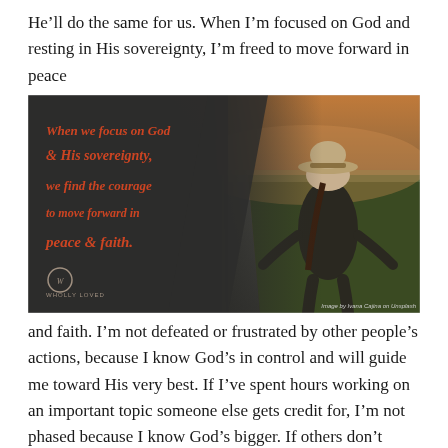He’ll do the same for us. When I’m focused on God and resting in His sovereignty, I’m freed to move forward in peace
[Figure (photo): Inspirational image with dark overlay on left showing cursive text ‘When we focus on God & His sovereignty, we find the courage to move forward in peace & faith.’ with Wholly Loved logo, and on right a woman from behind wearing a hat standing on a road at dusk. Image credit: Image by Ivana Cajina on Unsplash]
and faith. I’m not defeated or frustrated by other people’s actions, because I know God’s in control and will guide me toward His very best. If I’ve spent hours working on an important topic someone else gets credit for, I’m not phased because I know God’s bigger. If others don’t come through or leave in the middle of a job, I won’t feel